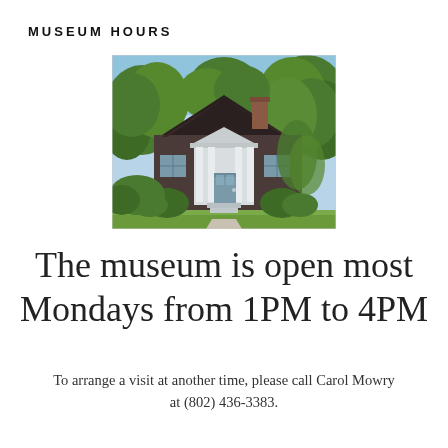MUSEUM HOURS
[Figure (photo): Exterior photograph of a small historic museum building with a white columned entryway, brick facade, and dense green foliage surrounding the structure.]
The museum is open most Mondays from 1PM to 4PM
To arrange a visit at another time, please call Carol Mowry at (802) 436-3383.